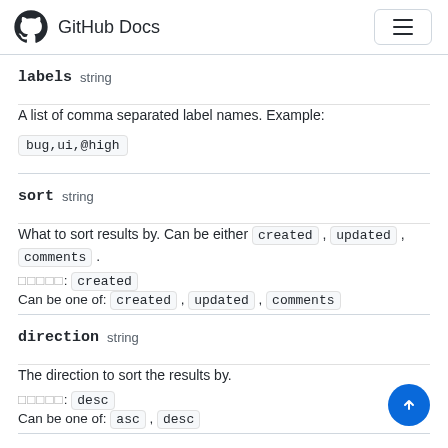GitHub Docs
labels  string
A list of comma separated label names. Example: bug,ui,@high
sort  string
What to sort results by. Can be either created , updated , comments .
Default: created
Can be one of: created , updated , comments
direction  string
The direction to sort the results by.
Default: desc
Can be one of: asc , desc